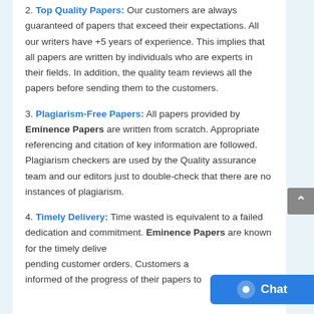2. Top Quality Papers: Our customers are always guaranteed of papers that exceed their expectations. All our writers have +5 years of experience. This implies that all papers are written by individuals who are experts in their fields. In addition, the quality team reviews all the papers before sending them to the customers.
3. Plagiarism-Free Papers: All papers provided by Eminence Papers are written from scratch. Appropriate referencing and citation of key information are followed. Plagiarism checkers are used by the Quality assurance team and our editors just to double-check that there are no instances of plagiarism.
4. Timely Delivery: Time wasted is equivalent to a failed dedication and commitment. Eminence Papers are known for the timely delivery of any pending customer orders. Customers are always informed of the progress of their papers to